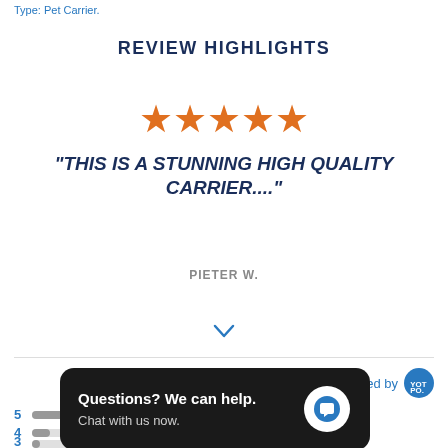Type: Pet Carrier.
REVIEW HIGHLIGHTS
[Figure (other): Five orange star rating icons]
"THIS IS A STUNNING HIGH QUALITY CARRIER...."
PIETER W.
Powered by YOTPO
4.9
5
4
3
[Figure (other): Chat popup overlay: 'Questions? We can help. Chat with us now.' with a chat bubble icon on a dark background.]